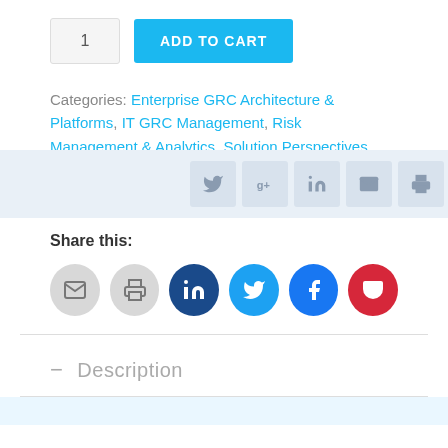1  ADD TO CART
Categories: Enterprise GRC Architecture & Platforms, IT GRC Management, Risk Management & Analytics, Solution Perspectives
[Figure (screenshot): Social share toolbar with Twitter, Google+, LinkedIn, email, and print icon buttons on light blue background]
Share this:
[Figure (infographic): Six circular share buttons: email (gray), print (gray), LinkedIn (dark blue), Twitter (blue), Facebook (blue), Pocket (red)]
Description